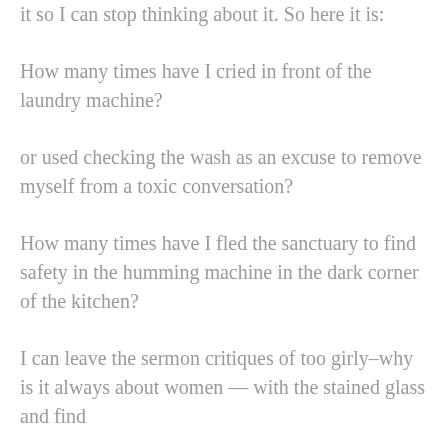it so I can stop thinking about it. So here it is:
How many times have I cried in front of the laundry machine?
or used checking the wash as an excuse to remove myself from a toxic conversation?
How many times have I fled the sanctuary to find safety in the humming machine in the dark corner of the kitchen?
I can leave the sermon critiques of too girly–why is it always about women — with the stained glass and find